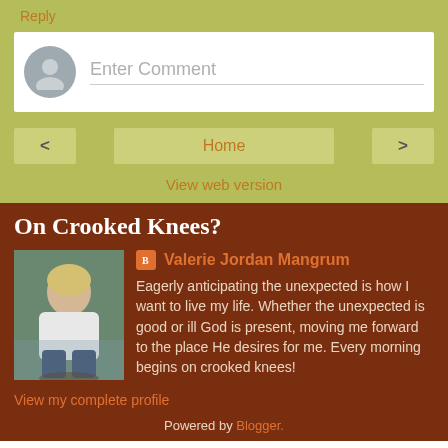Reply
[Figure (other): Comment input box with avatar placeholder and 'Enter Comment' text field]
Home
View web version
On Crooked Knees?
[Figure (photo): Profile photo of Valerie Jordan Mangrum, a woman with blonde hair sitting outdoors near water]
Valerie Jordan Mangrum
Eagerly anticipating the unexpected is how I want to live my life. Whether the unexpected is good or ill God is present, moving me forward to the place He desires for me. Every morning begins on crooked knees!
View my complete profile
Powered by Blogger.